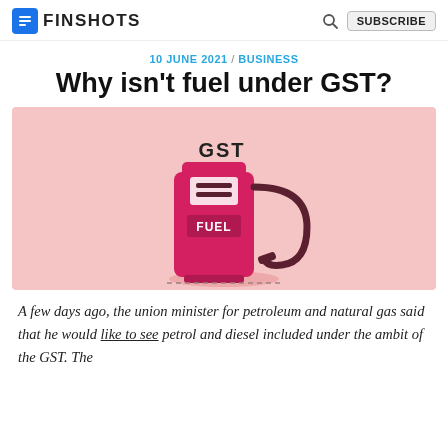FINSHUTS | SUBSCRIBE
10 JUNE 2021 / BUSINESS
Why isn't fuel under GST?
[Figure (illustration): Illustration of a pink/magenta retro fuel pump with 'FUEL' label on the body and 'GST' text above it, set against a pink background.]
A few days ago, the union minister for petroleum and natural gas said that he would like to see petrol and diesel included under the ambit of the GST. The